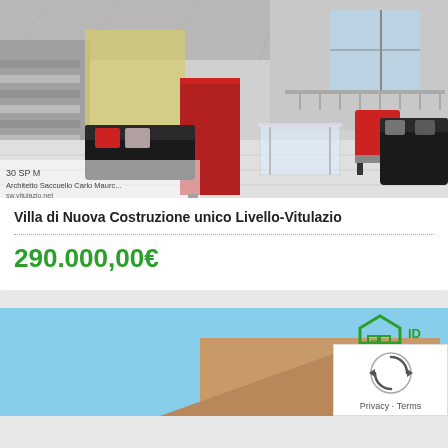[Figure (photo): 3D architectural rendering of a modern villa terrace with red and black furniture, showing an outdoor living area with seating]
Villa di Nuova Costruzione unico Livello-Vitulazio
290.000,00€
[Figure (photo): Second real estate listing image showing blue sky and a company logo (ID CA) for a property for sale (VENDITA), with a CAPTCHA overlay showing privacy and terms links]